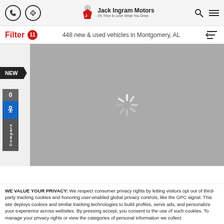[Figure (screenshot): Jack Ingram Motors website header with phone icon, directions icon, logo, search icon, and hamburger menu]
Filter 11   448 new & used vehicles in Montgomery, AL
[Figure (photo): Gray vehicle image placeholder with loading spinner. NEW badge on left side. Compare sidebar with 0 count and accessibility icon.]
WE VALUE YOUR PRIVACY: We respect consumer privacy rights by letting visitors opt out of third-party tracking cookies and honoring user-enabled global privacy controls, like the GPC signal. This site deploys cookies and similar tracking technologies to build profiles, serve ads, and personalize your experience across websites. By pressing accept, you consent to the use of such cookies. To manage your privacy rights or view the categories of personal information we collect